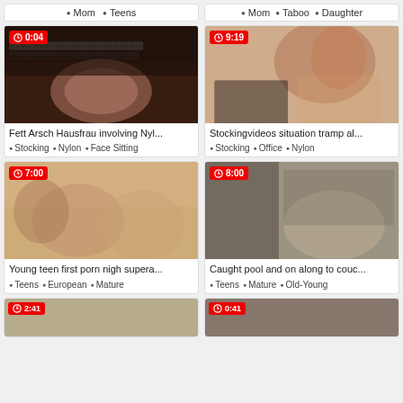Mom • Teens (left top tags)
Mom • Taboo • Daughter (right top tags)
[Figure (photo): Video thumbnail showing fishnet stockings close-up, duration 0:04]
Fett Arsch Hausfrau involving Nyl...
Stocking • Nylon • Face Sitting
[Figure (photo): Video thumbnail showing redhead woman in lingerie on couch, duration 9:19]
Stockingvideos situation tramp al...
Stocking • Office • Nylon
[Figure (photo): Video thumbnail showing three people on couch, duration 7:00]
Young teen first porn nigh supera...
Teens • European • Mature
[Figure (photo): Video thumbnail showing blonde woman in storage room, duration 8:00]
Caught pool and on along to couc...
Teens • Mature • Old-Young